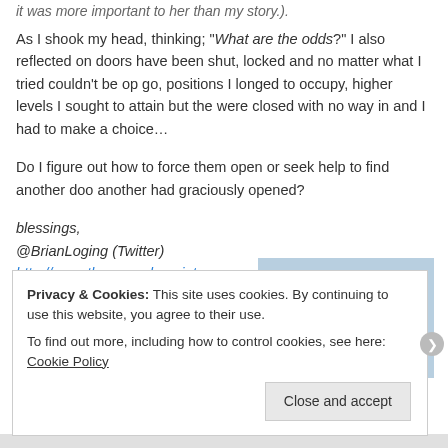it was more important to her than my story.).
As I shook my head, thinking; "What are the odds?" I also reflected on doors have been shut, locked and no matter what I tried couldn't be op go, positions I longed to occupy, higher levels I sought to attain but the were closed with no way in and I had to make a choice…
Do I figure out how to force them open or seek help to find another doc another had graciously opened?
blessings,
@BrianLoging (Twitter)
http://www.thewannabesaint.com
[Figure (photo): Stacked balanced stones against a light blue background]
Privacy & Cookies: This site uses cookies. By continuing to use this website, you agree to their use.
To find out more, including how to control cookies, see here: Cookie Policy
Close and accept